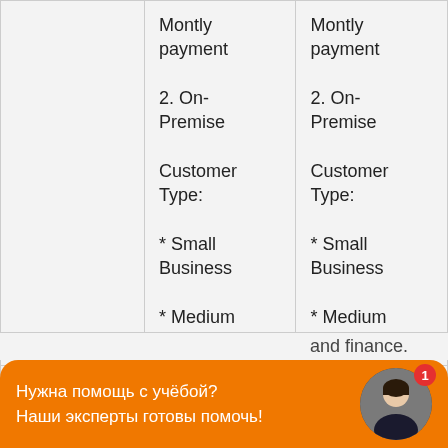|  |  |  |
| --- | --- | --- |
|  | Montly payment

2. On-Premise

Customer Type:

* Small Business

* Medium Business | Montly payment

2. On-Premise

Customer Type:

* Small Business

* Medium Business |
| Key idea | Simplify CRM | Control |
Нужна помощь с учёбой?
Наши эксперты готовы помочь!